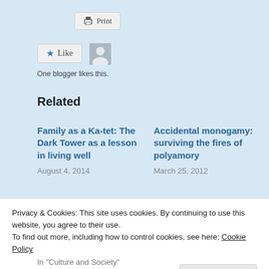[Figure (other): Print button with printer icon]
[Figure (other): Like button with star icon and user avatar; text: One blogger likes this.]
One blogger likes this.
Related
Family as a Ka-tet: The Dark Tower as a lesson in living well
August 4, 2014
Accidental monogamy: surviving the fires of polyamory
March 25, 2012
Privacy & Cookies: This site uses cookies. By continuing to use this website, you agree to their use.
To find out more, including how to control cookies, see here: Cookie Policy
Close and accept
In "Culture and Society"